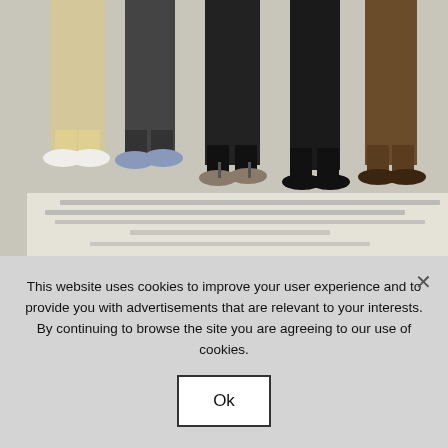[Figure (photo): Movie poster showing legs of multiple people from the knees down, wearing various shoes including sneakers, flip-flops, dress shoes. Blurred movie credits text visible. Pink tagline reads: ROMEO, OH ROMEO, GET OUT OF MY FACE.]
e the way you talk to me, and the way you our hair. I hate the way you drive my car. I it when you stare. I hate your big dumb
PREVIOUS POST
NEXT POST
This website uses cookies to improve your user experience and to provide you with advertisements that are relevant to your interests. By continuing to browse the site you are agreeing to our use of cookies.
Ok